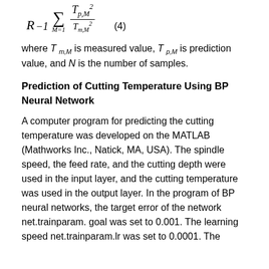where T_{m,M} is measured value, T_{p,M} is prediction value, and N is the number of samples.
Prediction of Cutting Temperature Using BP Neural Network
A computer program for predicting the cutting temperature was developed on the MATLAB (Mathworks Inc., Natick, MA, USA). The spindle speed, the feed rate, and the cutting depth were used in the input layer, and the cutting temperature was used in the output layer. In the program of BP neural networks, the target error of the network net.trainparam. goal was set to 0.001. The learning speed net.trainparam.lr was set to 0.0001. The